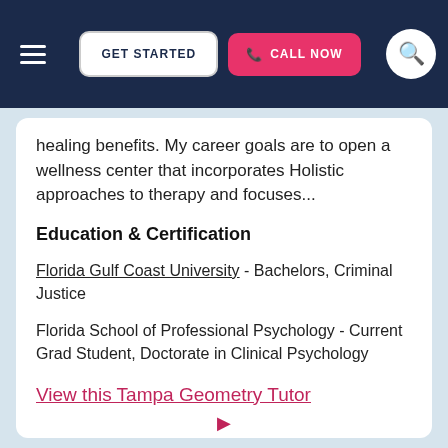GET STARTED | CALL NOW
healing benefits. My career goals are to open a wellness center that incorporates Holistic approaches to therapy and focuses...
Education & Certification
Florida Gulf Coast University - Bachelors, Criminal Justice
Florida School of Professional Psychology - Current Grad Student, Doctorate in Clinical Psychology
View this Tampa Geometry Tutor